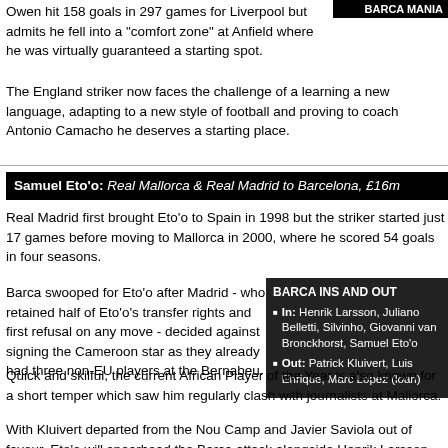BARCA MANIA
Owen hit 158 goals in 297 games for Liverpool but admits he fell into a "comfort zone" at Anfield where he was virtually guaranteed a starting spot.
The England striker now faces the challenge of a learning a new language, adapting to a new style of football and proving to coach Antonio Camacho he deserves a starting place.
Samuel Eto'o: Real Mallorca & Real Madrid to Barcelona, £16m
Real Madrid first brought Eto'o to Spain in 1998 but the striker started just 17 games before moving to Mallorca in 2000, where he scored 54 goals in four seasons.
Barca swooped for Eto'o after Madrid - who retained half of Eto'o's transfer rights and first refusal on any move - decided against signing the Cameroon star as they already had three non-EU players at the Bernabeu.
[Figure (infographic): BARCA INS AND OUTS sidebar listing In: Henrik Larsson, Juliano Belletti, Silvinho, Giovanni van Bronckhorst, Samuel Eto'o and Out: Patrick Kluivert, Luis Enrique, Marc Lopez (loan)]
Quick and skilful, the current African Player of the Year is also known for a short temper which saw him regularly clash with journalists at Mallorca.
With Kluivert departed from the Nou Camp and Javier Saviola out of favour, Eto'o will spearhead the Barca attack alongside Henrik Larsson and Brazilian superstar Ronaldinho.